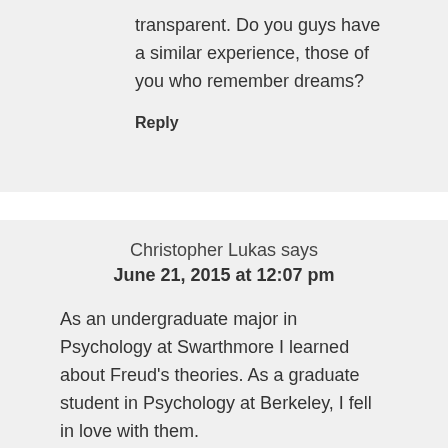transparent. Do you guys have a similar experience, those of you who remember dreams?
Reply
Christopher Lukas says
June 21, 2015 at 12:07 pm
As an undergraduate major in Psychology at Swarthmore I learned about Freud's theories. As a graduate student in Psychology at Berkeley, I fell in love with them.
Many years later, I have published six books on